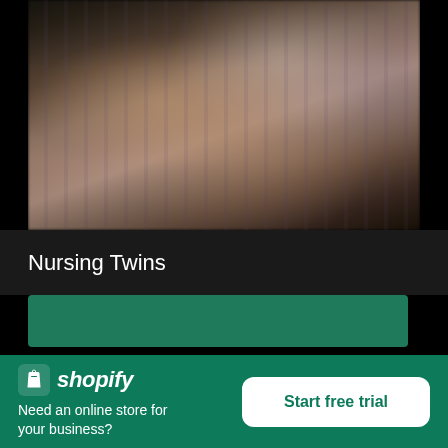[Figure (photo): Blurred photo of nursing twins, showing a person holding two infants, with striped fabric visible in the background]
Nursing Twins
High resolution download ↓  ×
[Figure (logo): Shopify logo with shopping bag icon and italic text 'shopify']
Need an online store for your business?
Start free trial